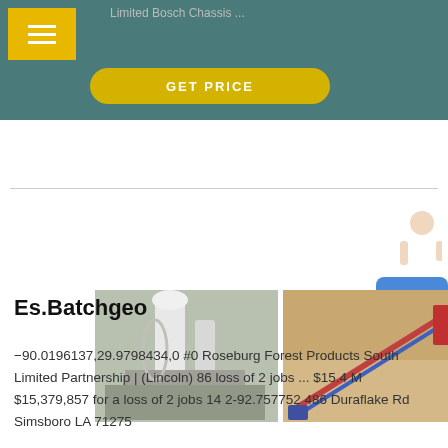Limited Bosch Chassis ...
GET PRICE
[Figure (photo): Three industrial machinery photos: white industrial mill/plant, quarry/mining conveyor equipment, blue heavy industrial machine]
Es.Batchgeo
-90.0196137,29.9798434,0 #0 Roseburg Forest Products South Limited Partnership | (Lincoln) 86 loss of 2 jobs ... $15.4 M $15,379,857 for a loss of 2 jobs 14 2-92.757752 486 Duraflake Rd Simsboro LA 71275